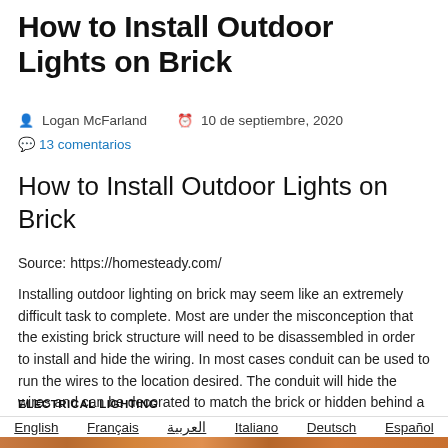How to Install Outdoor Lights on Brick
Logan McFarland   10 de septiembre, 2020
13 comentarios
How to Install Outdoor Lights on Brick
Source: https://homesteady.com/
Installing outdoor lighting on brick may seem like an extremely difficult task to complete. Most are under the misconception that the existing brick structure will need to be disassembled in order to install and hide the wiring. In most cases conduit can be used to run the wires to the location desired. The conduit will hide the wires and can be decorated to match the brick or hidden behind a plant. Solar lighting is another option for outdoor lighting.
ELECTRICAL LIGHTING
English   Français   العربية   Italiano   Deutsch   Español